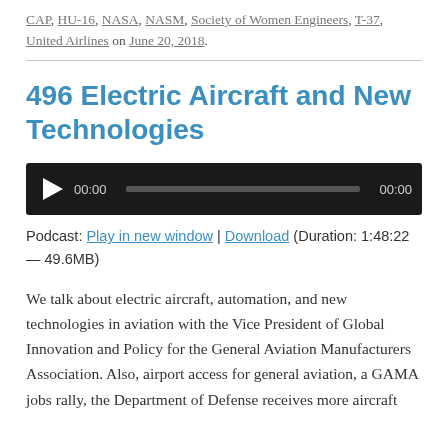CAP, HU-16, NASA, NASM, Society of Women Engineers, T-37, United Airlines on June 20, 2018.
496 Electric Aircraft and New Technologies
[Figure (other): Audio player widget with play button, progress bar showing 00:00 / 00:00]
Podcast: Play in new window | Download (Duration: 1:48:22 — 49.6MB)
We talk about electric aircraft, automation, and new technologies in aviation with the Vice President of Global Innovation and Policy for the General Aviation Manufacturers Association. Also, airport access for general aviation, a GAMA jobs rally, the Department of Defense receives more aircraft